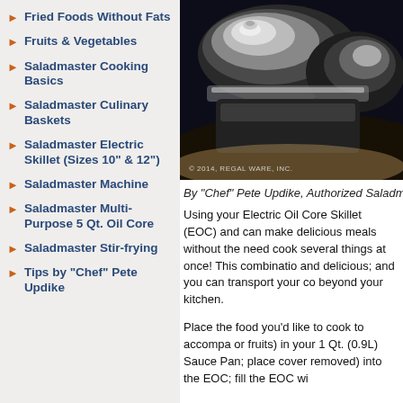Fried Foods Without Fats
Fruits & Vegetables
Saladmaster Cooking Basics
Saladmaster Culinary Baskets
Saladmaster Electric Skillet (Sizes 10" & 12")
Saladmaster Machine
Saladmaster Multi-Purpose 5 Qt. Oil Core
Saladmaster Stir-frying
Tips by "Chef" Pete Updike
[Figure (photo): Close-up photo of Saladmaster stainless steel cookware including lids, with dark background. Copyright notice: © 2014, REGAL WARE, INC.]
By "Chef" Pete Updike, Authorized Saladmast…
Using your Electric Oil Core Skillet (EOC) and can make delicious meals without the need cook several things at once! This combinatio and delicious; and you can transport your co beyond your kitchen.
Place the food you'd like to cook to accompa or fruits) in your 1 Qt. (0.9L) Sauce Pan; place cover removed) into the EOC; fill the EOC wi